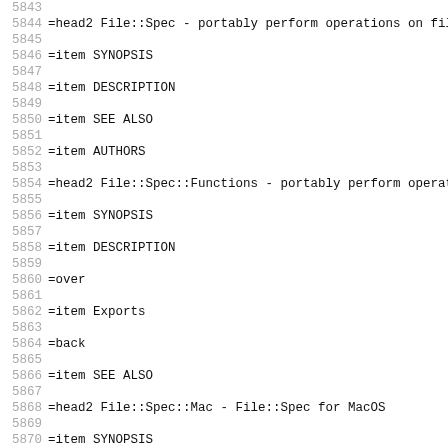5843
5844 =head2 File::Spec - portably perform operations on file
5845
5846 =item SYNOPSIS
5847
5848 =item DESCRIPTION
5849
5850 =item SEE ALSO
5851
5852 =item AUTHORS
5853
5854 =head2 File::Spec::Functions - portably perform operati
5855
5856 =item SYNOPSIS
5857
5858 =item DESCRIPTION
5859
5860 =over
5861
5862 =item Exports
5863
5864 =back
5865
5866 =item SEE ALSO
5867
5868 =head2 File::Spec::Mac - File::Spec for MacOS
5869
5870 =item SYNOPSIS
5871
5872 =item DESCRIPTION
5873
5874 =item METHODS